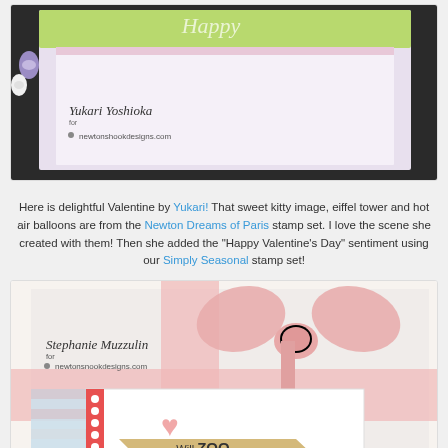[Figure (photo): Valentine card by Yukari Yoshioka featuring a kitty, eiffel tower and hot air balloons with Happy Valentine's Day sentiment, shown on dark background with thread spools]
Here is delightful Valentine by Yukari! That sweet kitty image, eiffel tower and hot air balloons are from the Newton Dreams of Paris stamp set. I love the scene she created with them! Then she added the "Happy Valentine's Day" sentiment using our Simply Seasonal stamp set!
[Figure (photo): Valentine card by Stephanie Muzzulin featuring a pink ribbon bow, hearts, and banner reading 'Will ZOO be mine?' on a decorated card background]